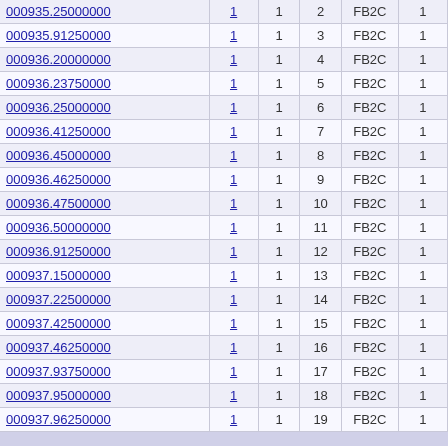| Frequency |  |  | # | Type |  |
| --- | --- | --- | --- | --- | --- |
| 000935.25000000 | 1 | 1 | 2 | FB2C | 1 |
| 000935.91250000 | 1 | 1 | 3 | FB2C | 1 |
| 000936.20000000 | 1 | 1 | 4 | FB2C | 1 |
| 000936.23750000 | 1 | 1 | 5 | FB2C | 1 |
| 000936.25000000 | 1 | 1 | 6 | FB2C | 1 |
| 000936.41250000 | 1 | 1 | 7 | FB2C | 1 |
| 000936.45000000 | 1 | 1 | 8 | FB2C | 1 |
| 000936.46250000 | 1 | 1 | 9 | FB2C | 1 |
| 000936.47500000 | 1 | 1 | 10 | FB2C | 1 |
| 000936.50000000 | 1 | 1 | 11 | FB2C | 1 |
| 000936.91250000 | 1 | 1 | 12 | FB2C | 1 |
| 000937.15000000 | 1 | 1 | 13 | FB2C | 1 |
| 000937.22500000 | 1 | 1 | 14 | FB2C | 1 |
| 000937.42500000 | 1 | 1 | 15 | FB2C | 1 |
| 000937.46250000 | 1 | 1 | 16 | FB2C | 1 |
| 000937.93750000 | 1 | 1 | 17 | FB2C | 1 |
| 000937.95000000 | 1 | 1 | 18 | FB2C | 1 |
| 000937.96250000 | 1 | 1 | 19 | FB2C | 1 |
35 Frequencies for all locations
20 Frequencies per Summary Page
Filter Frequencies By Location
All Locations
1 2 [Next >>]